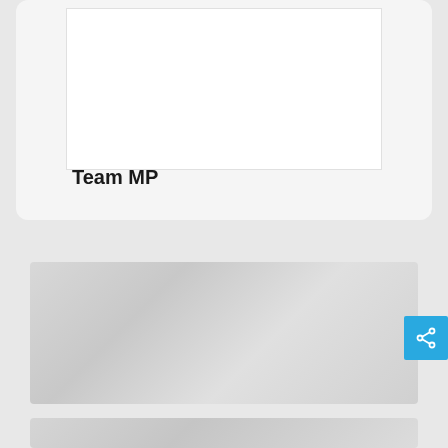[Figure (screenshot): Top card with white inner area and rounded corners on light gray background]
Team MP
[Figure (photo): Gray gradient image block in the middle of the page]
[Figure (screenshot): Blue share button with share icon at right edge]
[Figure (photo): Gray gradient image block at the bottom of the page]